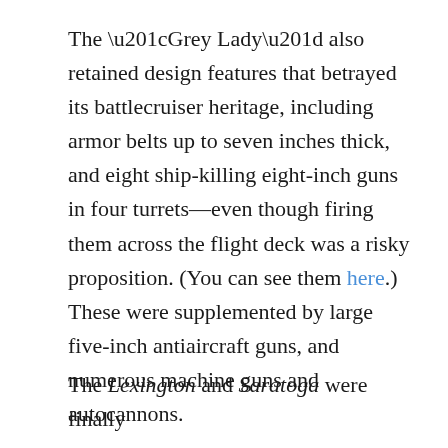The “Grey Lady” also retained design features that betrayed its battlecruiser heritage, including armor belts up to seven inches thick, and eight ship-killing eight-inch guns in four turrets—even though firing them across the flight deck was a risky proposition. (You can see them here.) These were supplemented by large five-inch antiaircraft guns, and numerous machine guns and autocannons.
The Lexington and Saratoga were finally